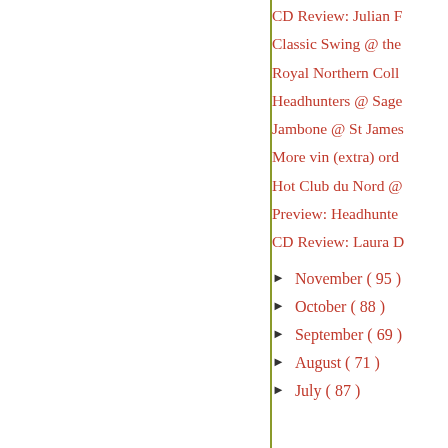CD Review: Julian F
Classic Swing @ the
Royal Northern Coll
Headhunters @ Sage
Jambone @ St James
More vin (extra) ord
Hot Club du Nord @
Preview: Headhunte
CD Review: Laura D
November ( 95 )
October ( 88 )
September ( 69 )
August ( 71 )
July ( 87 )